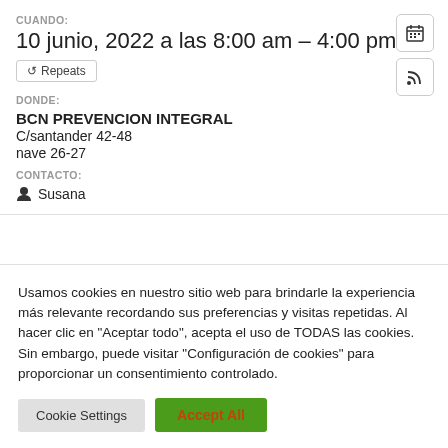CUANDO:
10 junio, 2022 a las 8:00 am – 4:00 pm
↺ Repeats
DONDE:
BCN PREVENCION INTEGRAL
C/santander 42-48
nave 26-27
CONTACTO:
Susana
Usamos cookies en nuestro sitio web para brindarle la experiencia más relevante recordando sus preferencias y visitas repetidas. Al hacer clic en "Aceptar todo", acepta el uso de TODAS las cookies. Sin embargo, puede visitar "Configuración de cookies" para proporcionar un consentimiento controlado.
Cookie Settings
Accept All